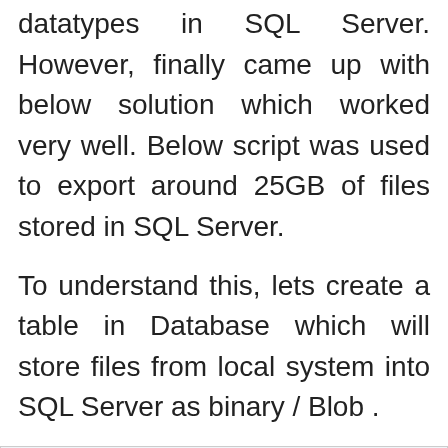documents stored as binary (Blob) datatypes in SQL Server. However, finally came up with below solution which worked very well. Below script was used to export around 25GB of files stored in SQL Server.
To understand this, lets create a table in Database which will store files from local system into SQL Server as binary / Blob .
CREATE TABLE [dbo].[Document](
    [Doc_Num] [numeric](18, 0)